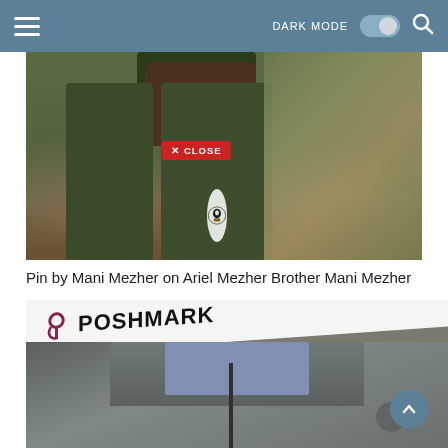DARK MODE [toggle] [search]
[Figure (photo): Photo of person wearing dark olive/army green sweatpants with a graphic logo patch on the lower leg, standing outdoors on ground covered with fallen autumn leaves. A red 'X CLOSE' button overlay is visible on the image.]
Pin by Mani Mezher on Ariel Mezher Brother Mani Mezher
[Figure (photo): Poshmark listing photo showing a grey/olive zip-up jacket with a blue underlayer visible at collar. Poshmark logo banner overlaid at the top of the image. A scroll-up button (circle with chevron) is visible in the bottom right corner.]